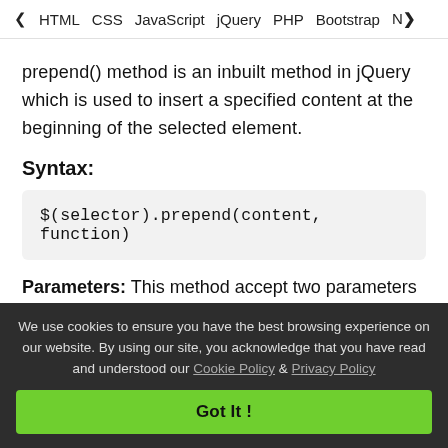< HTML   CSS   JavaScript   jQuery   PHP   Bootstrap   N>
prepend() method is an inbuilt method in jQuery which is used to insert a specified content at the beginning of the selected element.
Syntax:
[Figure (screenshot): Code box showing: $(selector).prepend(content, function)]
Parameters: This method accept two parameters as mentioned above and described below:
content: It is required parameter which is used
We use cookies to ensure you have the best browsing experience on our website. By using our site, you acknowledge that you have read and understood our Cookie Policy & Privacy Policy
Got It !